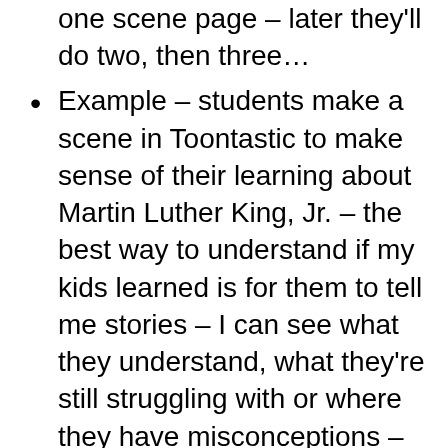one scene page – later they'll do two, then three…
Example – students make a scene in Toontastic to make sense of their learning about Martin Luther King, Jr. – the best way to understand if my kids learned is for them to tell me stories – I can see what they understand, what they're still struggling with or where they have misconceptions – helps me know what to review
The background can be whatever you want – great for explanatory videos
When kids watch each others' videos, they're reviewing our